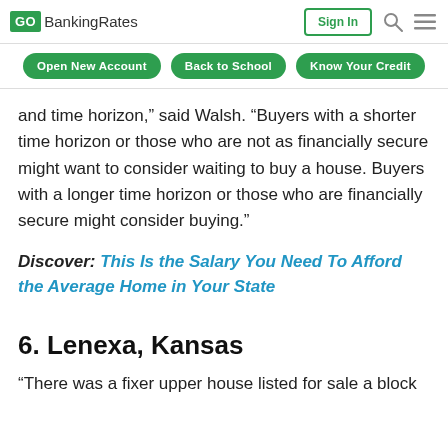GOBankingRates | Sign In | Search | Menu
Open New Account | Back to School | Know Your Credit
and time horizon,” said Walsh. “Buyers with a shorter time horizon or those who are not as financially secure might want to consider waiting to buy a house. Buyers with a longer time horizon or those who are financially secure might consider buying.”
Discover: This Is the Salary You Need To Afford the Average Home in Your State
6. Lenexa, Kansas
“There was a fixer upper house listed for sale a block